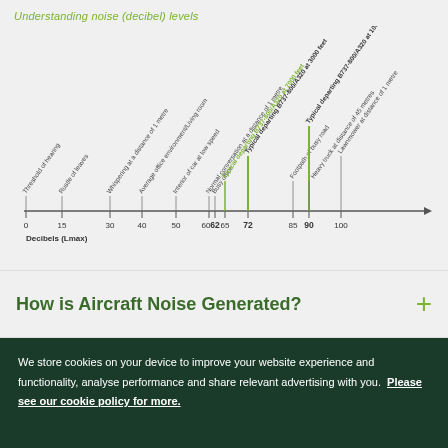[Figure (infographic): Noise decibel level scale diagram showing various sound sources along a horizontal axis from 0 to 100+ decibels. Labels include: Threshold of hearing (0), Rustle of leaves (15), Whispering at a distance of 1 metre (30), Average office environment/Living room (40), Interior of car at low speed (50), Normal conversation at a distance of 1 metre (60), Busy office (62), Typical departing B737-800/A320 at 7000 feet (65), Typical departing B737-800/A320 at 3000 feet (72, bold/highlighted), Footpath of busy road (85), Heavy truck at distance of 45 metres (90, bold/highlighted), Lawnmower at distance of 1 metre (100+). Title: Understanding noise (decibel) levels. X-axis label: Decibels (Lmax)]
How is Aircraft Noise Generated?
We store cookies on your device to improve your website experience and functionality, analyse performance and share relevant advertising with you.  Please see our cookie policy for more.